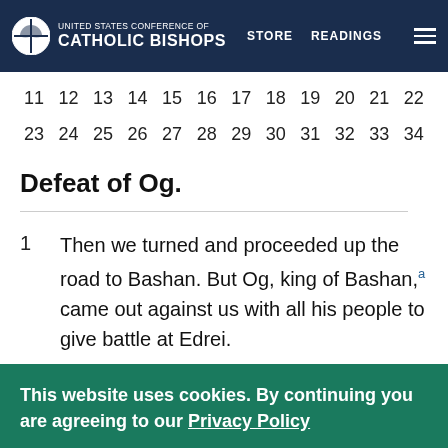UNITED STATES CONFERENCE OF CATHOLIC BISHOPS | STORE | READINGS
11 12 13 14 15 16 17 18 19 20 21 22
23 24 25 26 27 28 29 30 31 32 33 34
Defeat of Og.
1 Then we turned and proceeded up the road to Bashan. But Og, king of Bashan,a came out against us with all his people to give battle at Edrei.
2 The Lord said to me, Do not fear him, for...
This website uses cookies. By continuing you are agreeing to our Privacy Policy